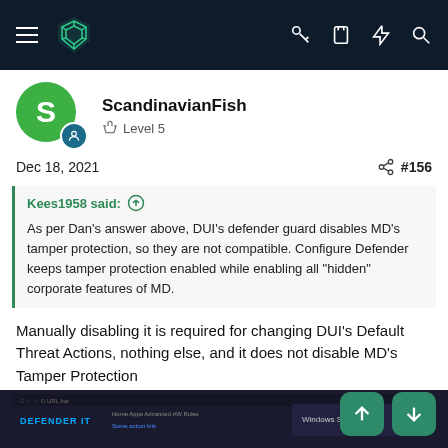Navigation bar with logo and icons
ScandinavianFish
Level 5
Dec 18, 2021   #156
Kees1958 said: ↑

As per Dan's answer above, DUI's defender guard disables MD's tamper protection, so they are not compatible. Configure Defender keeps tamper protection enabled while enabling all "hidden" corporate features of MD.
Manually disabling it is required for changing DUI's Default Threat Actions, nothing else, and it does not disable MD's Tamper Protection
[Figure (screenshot): Screenshot of a dark-themed Windows Defender application interface]